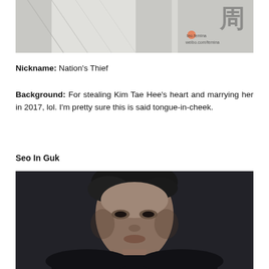[Figure (photo): Partial black and white fashion photo showing a person in a white knit top, with Chinese text and watermark 'teo.femina weibo.com/femina' in the top right corner]
Nickname: Nation's Thief
Background: For stealing Kim Tae Hee's heart and marrying her in 2017, lol. I'm pretty sure this is said tongue-in-cheek.
Seo In Guk
[Figure (photo): Black and white portrait photo of Seo In Guk, a Korean actor/celebrity, with dark hair, looking directly at the camera against a dark background]